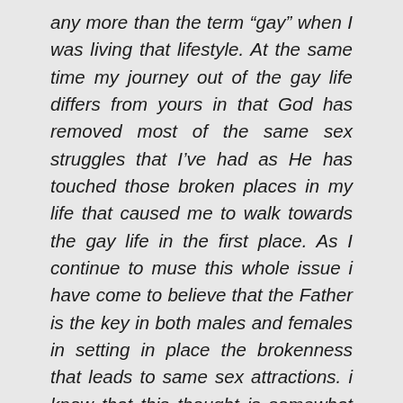any more than the term “gay” when I was living that lifestyle. At the same time my journey out of the gay life differs from yours in that God has removed most of the same sex struggles that I’ve had as He has touched those broken places in my life that caused me to walk towards the gay life in the first place. As I continue to muse this whole issue i have come to believe that the Father is the key in both males and females in setting in place the brokenness that leads to same sex attractions. i know that this thought is somewhat premature and not completely thought through but with each passing day I see more and more how the Father role